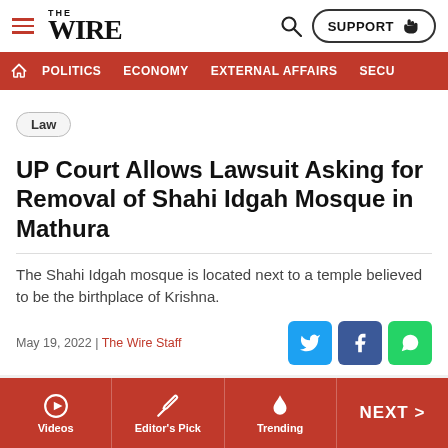THE WIRE
POLITICS | ECONOMY | EXTERNAL AFFAIRS | SECU...
Law
UP Court Allows Lawsuit Asking for Removal of Shahi Idgah Mosque in Mathura
The Shahi Idgah mosque is located next to a temple believed to be the birthplace of Krishna.
May 19, 2022 | The Wire Staff
Shahi Idgah mosque and Sri Krishna Janmabhoomi temple in Mathura. Photo: PTI
Videos | Editor's Pick | Trending | NEXT >